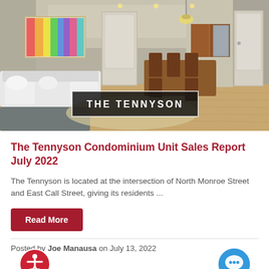[Figure (photo): Interior photo of The Tennyson condominium showing a living room with sofa, dining table and chairs, kitchen in the background, hardwood floors, and a colorful abstract painting on the wall. A dark banner overlay reads THE TENNYSON.]
The Tennyson Condominium Unit Sales Report July 2022
The Tennyson is located at the intersection of North Monroe Street and East Call Street, giving its residents ...
Read More
Posted by Joe Manausa on July 13, 2022